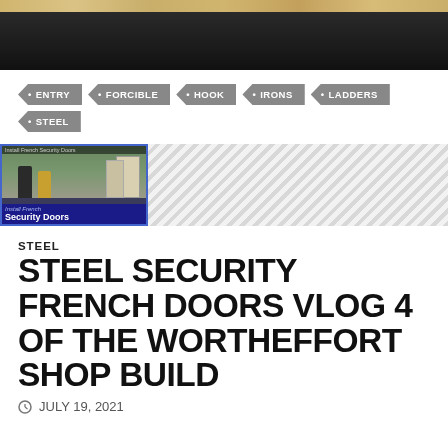[Figure (photo): Top portion of a video thumbnail showing people and a door, partially visible with dark overlay bar]
• ENTRY
• FORCIBLE
• HOOK
• IRONS
• LADDERS
• STEEL
[Figure (photo): Thumbnail image showing two people at a door labeled 'Install French Security Doors' with blue border, next to a diagonal stripe banner]
STEEL
STEEL SECURITY FRENCH DOORS VLOG 4 OF THE WORTHEFFORT SHOP BUILD
© JULY 19, 2021